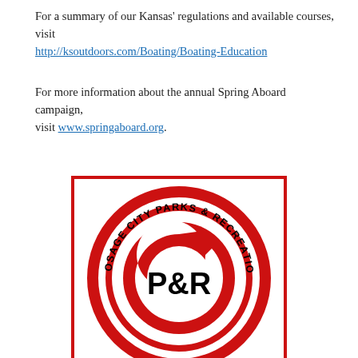For a summary of our Kansas' regulations and available courses, visit http://ksoutdoors.com/Boating/Boating-Education
For more information about the annual Spring Aboard campaign, visit www.springaboard.org.
[Figure (logo): Osage City Parks & Recreation P&R logo with red circular design and 'CLICK for INFO' text below]
[Figure (infographic): Social share buttons: Facebook (blue), Twitter (blue), Pinterest (red), Email (gray)]
Posted in: Featured, Outdoors
[Figure (illustration): Advertisement with text 'Because every moment of life is for living.']